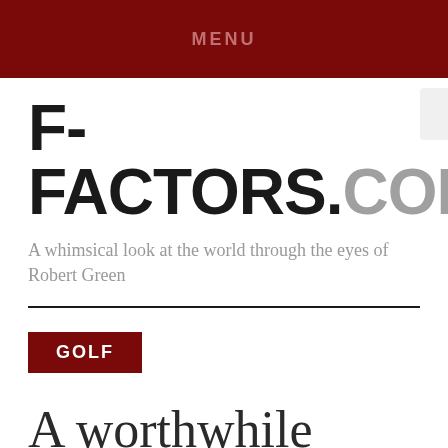MENU
F-FACTORS.COM
A whimsical look at the world through the eyes of Robert Green
GOLF
A worthwhile